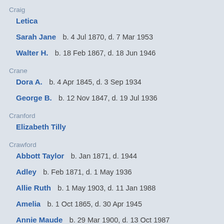Craig
Letica
Sarah Jane   b. 4 Jul 1870, d. 7 Mar 1953
Walter H.   b. 18 Feb 1867, d. 18 Jun 1946
Crane
Dora A.   b. 4 Apr 1845, d. 3 Sep 1934
George B.   b. 12 Nov 1847, d. 19 Jul 1936
Cranford
Elizabeth Tilly
Crawford
Abbott Taylor   b. Jan 1871, d. 1944
Adley   b. Feb 1871, d. 1 May 1936
Allie Ruth   b. 1 May 1903, d. 11 Jan 1988
Amelia   b. 1 Oct 1865, d. 30 Apr 1945
Annie Maude   b. 29 Mar 1900, d. 13 Oct 1987